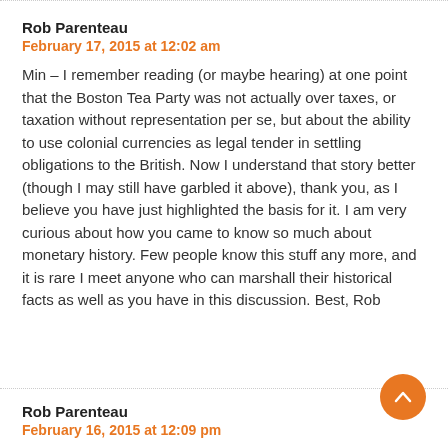Rob Parenteau
February 17, 2015 at 12:02 am
Min – I remember reading (or maybe hearing) at one point that the Boston Tea Party was not actually over taxes, or taxation without representation per se, but about the ability to use colonial currencies as legal tender in settling obligations to the British. Now I understand that story better (though I may still have garbled it above), thank you, as I believe you have just highlighted the basis for it. I am very curious about how you came to know so much about monetary history. Few people know this stuff any more, and it is rare I meet anyone who can marshall their historical facts as well as you have in this discussion. Best, Rob
Rob Parenteau
February 16, 2015 at 12:09 pm